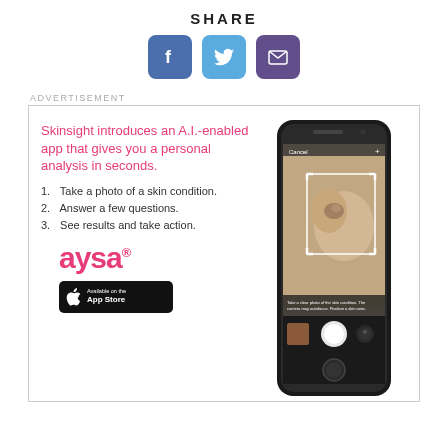SHARE
[Figure (infographic): Three social share buttons: Facebook (blue square with f), Twitter (light blue square with bird), Email (purple square with envelope)]
ADVERTISEMENT
[Figure (infographic): Advertisement for Aysa app by Skinsight. Shows headline text, numbered list, Aysa logo, App Store badge on left, and smartphone showing skin analysis app on right.]